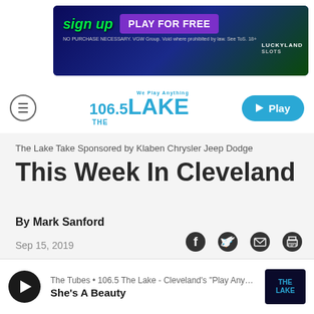[Figure (screenshot): LuckyLand Slots advertisement banner with 'sign up' in green, 'PLAY FOR FREE' in purple button, and game mascot character on right side with LuckyLand Slots branding]
106.5 The Lake - navigation bar with hamburger menu, logo, and Play button
The Lake Take Sponsored by Klaben Chrysler Jeep Dodge
This Week In Cleveland
By Mark Sanford
Sep 15, 2019
[Figure (infographic): Social sharing icons: Facebook, Twitter, Email, Print]
The Tubes • 106.5 The Lake - Cleveland's "Play Anythin... She's A Beauty